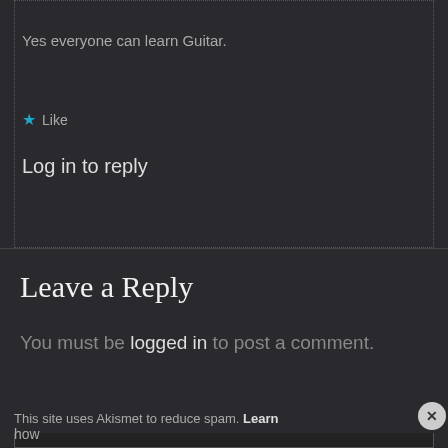Yes everyone can learn Guitar.
★ Like
Log in to reply
Leave a Reply
You must be logged in to post a comment.
This site uses Akismet to reduce spam. Learn
how
Advertisements